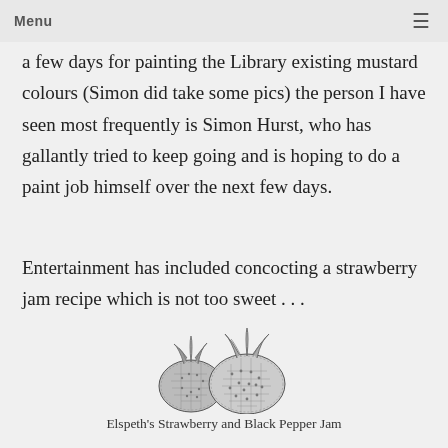Menu
a few days for painting the Library existing mustard colours (Simon did take some pics) the person I have seen most frequently is Simon Hurst, who has gallantly tried to keep going and is hoping to do a paint job himself over the next few days.
Entertainment has included concocting a strawberry jam recipe which is not too sweet . . .
[Figure (illustration): Black and white illustration of two strawberries with leaves/stems]
Elspeth's Strawberry and Black Pepper Jam